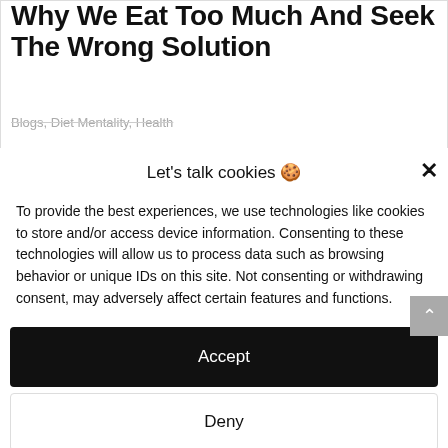Why We Eat Too Much And Seek The Wrong Solution
Blogs, Diet Mentality, Health
Let's talk cookies 🍪
To provide the best experiences, we use technologies like cookies to store and/or access device information. Consenting to these technologies will allow us to process data such as browsing behavior or unique IDs on this site. Not consenting or withdrawing consent, may adversely affect certain features and functions.
Accept
Deny
View preferences
Cookie Policy